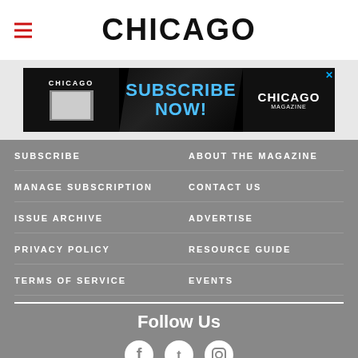CHICAGO
[Figure (other): Chicago Magazine subscription advertisement banner with 'SUBSCRIBE NOW!' text and magazine logo]
SUBSCRIBE
ABOUT THE MAGAZINE
MANAGE SUBSCRIPTION
CONTACT US
ISSUE ARCHIVE
ADVERTISE
PRIVACY POLICY
RESOURCE GUIDE
TERMS OF SERVICE
EVENTS
Follow Us